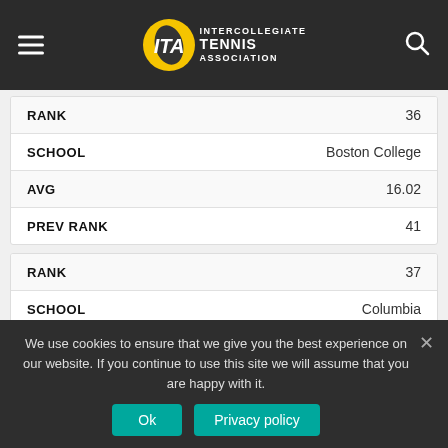ITA - Intercollegiate Tennis Association
| Field | Value |
| --- | --- |
| RANK | 36 |
| SCHOOL | Boston College |
| AVG | 16.02 |
| PREV RANK | 41 |
| Field | Value |
| --- | --- |
| RANK | 37 |
| SCHOOL | Columbia |
| AVG | 15.83 |
We use cookies to ensure that we give you the best experience on our website. If you continue to use this site we will assume that you are happy with it.